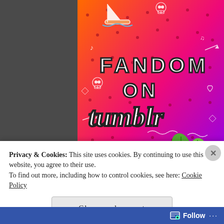[Figure (illustration): Colorful Tumblr advertisement banner with orange-to-purple gradient background, white doodle icons (skull, sailboat, music notes, hearts, arrows, leaves, sun), and text 'FANDOM ON tumblr' in bold black/white letters. Animated sticker-style decorations including a red octopus and green leaf characters.]
REPORT THIS AD
SHARE
Privacy & Cookies: This site uses cookies. By continuing to use this website, you agree to their use.
To find out more, including how to control cookies, see here: Cookie Policy
Close and accept